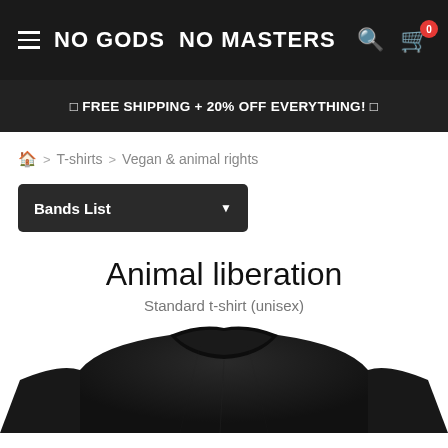NO GODS NO MASTERS
☰ FREE SHIPPING + 20% OFF EVERYTHING! ☰
🏠 > T-shirts > Vegan & animal rights
Bands List
Animal liberation
Standard t-shirt (unisex)
[Figure (photo): Black t-shirt product photo showing neckline and shoulders of a black unisex t-shirt]